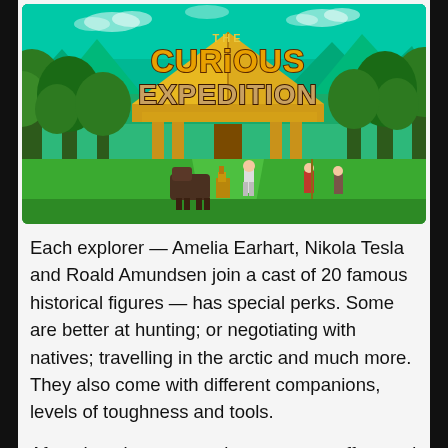[Figure (screenshot): Game title screen for 'The Curious Expedition' showing pixel-art style landscape with a golden pyramid/temple in the background, green jungle trees on both sides, a green meadow path leading to the temple, a teal/green sky with clouds and mountains, and several pixel-art characters in the foreground including what appears to be explorers and a large animal (bison/buffalo). The game title 'THE CURIOUS EXPEDITION' is displayed prominently in stylized golden/brown lettering.]
Each explorer — Amelia Earhart, Nikola Tesla and Roald Amundsen join a cast of 20 famous historical figures — has special perks. Some are better at hunting; or negotiating with natives; travelling in the arctic and much more. They also come with different companions, levels of toughness and tools.
After choosing your explorer, you set off toward a